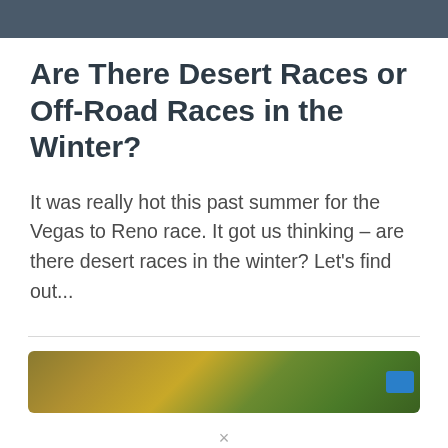[Figure (photo): Top portion of an image, partially cropped, showing a dark vehicle or object against a dark background]
Are There Desert Races or Off-Road Races in the Winter?
It was really hot this past summer for the Vegas to Reno race. It got us thinking – are there desert races in the winter? Let's find out...
[Figure (photo): Partially visible image at the bottom showing autumn foliage with yellow and green trees, with a small blue badge/icon in the bottom right corner]